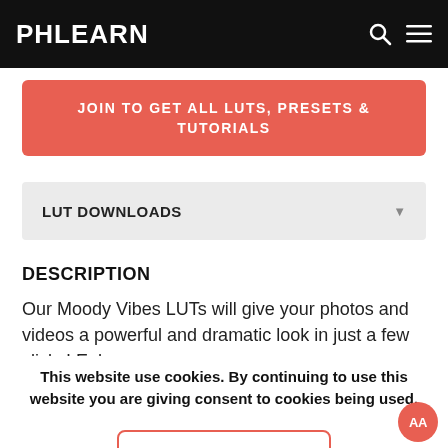PHLEARN
JOIN TO GET ALL LUTS, PRESETS & TUTORIALS
LUT DOWNLOADS
DESCRIPTION
Our Moody Vibes LUTs will give your photos and videos a powerful and dramatic look in just a few clicks! Enhance
This website use cookies. By continuing to use this website you are giving consent to cookies being used.
ACCEPT
Read More